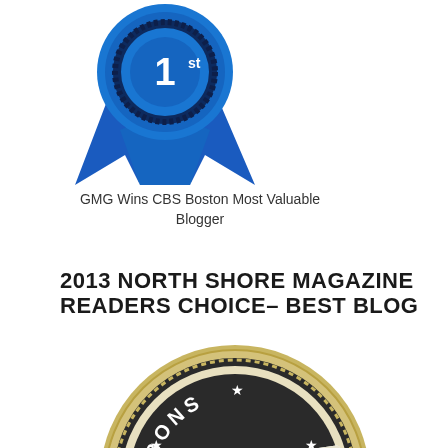[Figure (illustration): Blue first-place ribbon award icon with dark navy serrated center circle and blue ribbon tails]
GMG Wins CBS Boston Most Valuable Blogger
2013 NORTH SHORE MAGAZINE READERS CHOICE– BEST BLOG
[Figure (illustration): Circular badge/seal with dark background reading 'BONS BEST of Shore 2013' with a diagonal banner across the center reading 'BEST' and '2013', surrounded by a gold/beige scalloped border]